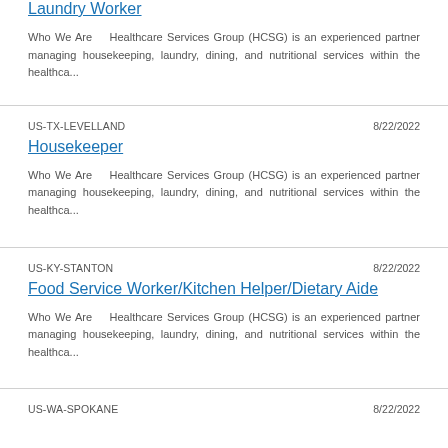Laundry Worker
Who We Are    Healthcare Services Group (HCSG) is an experienced partner managing housekeeping, laundry, dining, and nutritional services within the healthca...
US-TX-LEVELLAND    8/22/2022
Housekeeper
Who We Are    Healthcare Services Group (HCSG) is an experienced partner managing housekeeping, laundry, dining, and nutritional services within the healthca...
US-KY-STANTON    8/22/2022
Food Service Worker/Kitchen Helper/Dietary Aide
Who We Are    Healthcare Services Group (HCSG) is an experienced partner managing housekeeping, laundry, dining, and nutritional services within the healthca...
US-WA-SPOKANE    8/22/2022